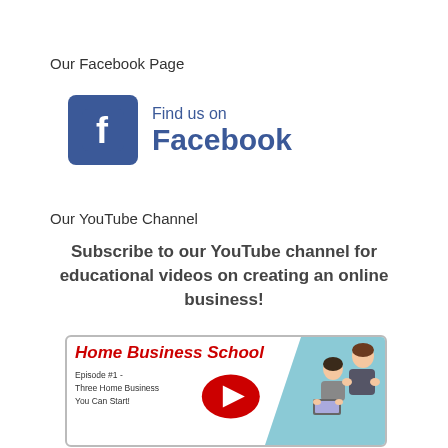Our Facebook Page
[Figure (logo): Find us on Facebook logo with the Facebook 'f' icon in blue square and text 'Find us on Facebook' in blue]
Our YouTube Channel
Subscribe to our YouTube channel for educational videos on creating an online business!
[Figure (screenshot): YouTube video thumbnail for Home Business School Episode #1 - Three Home Business You Can Start!, with play button and cartoon characters]